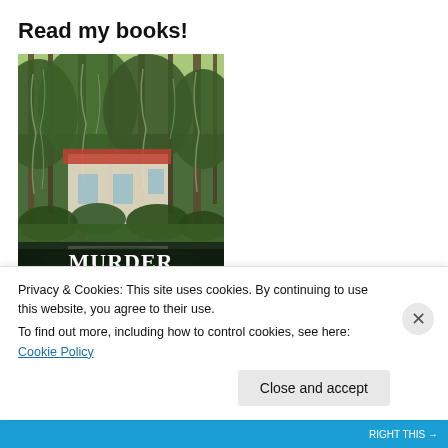Read my books!
[Figure (photo): Book cover of 'Murder on the Teche: A True Story of Money and a Flawed Investigation'. Shows a southern plantation-style house surrounded by large oak trees draped with Spanish moss, reflected in a bayou/teche waterway in the foreground. Large white title text 'MURDER ON THE TECHE' with subtitle 'A True Story of Money and a Flawed Investigation' and 'By' at the bottom.]
Privacy & Cookies: This site uses cookies. By continuing to use this website, you agree to their use.
To find out more, including how to control cookies, see here: Cookie Policy
Close and accept